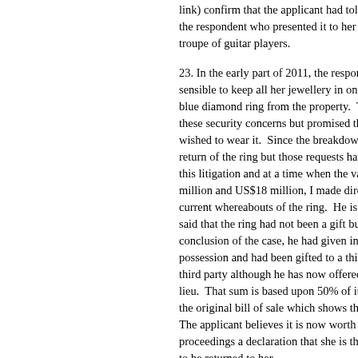link) confirm that the applicant had told th the respondent who presented it to her wi troupe of guitar players.
23. In the early part of 2011, the respond sensible to keep all her jewellery in one p blue diamond ring from the property. Th these security concerns but promised tha wished to wear it. Since the breakdown of return of the ring but those requests have this litigation and at a time when the value million and US$18 million, I made direc current whereabouts of the ring. He is in said that the ring had not been a gift but wa conclusion of the case, he had given ins possession and had been gifted to a third third party although he has now offered to lieu. That sum is based upon 50% of its va the original bill of sale which shows that th The applicant believes it is now worth very proceedings a declaration that she is the be to be returned to her.
The circumstances in which the marriage c
24. I have already referred to the fact tha February 2012. He says that by this stage their time apart. She and S were based